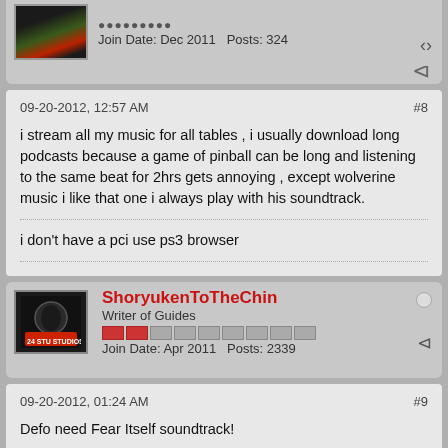Join Date: Dec 2011  Posts: 324
09-20-2012, 12:57 AM  #8
i stream all my music for all tables , i usually download long podcasts because a game of pinball can be long and listening to the same beat for 2hrs gets annoying , except wolverine music i like that one i always play with his soundtrack.
i don't have a pci use ps3 browser
ShoryukenToTheChin
Writer of Guides
Join Date: Apr 2011  Posts: 2339
09-20-2012, 01:24 AM  #9
Defo need Fear Itself soundtrack!
sigpic